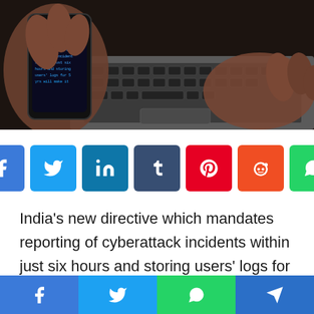[Figure (photo): Hands holding a smartphone with glowing text on screen, with a laptop keyboard visible in the background. Dark, moody lighting.]
[Figure (infographic): Row of social media share buttons: Facebook (blue), Twitter (light blue), LinkedIn (teal), Tumblr (dark navy), Pinterest (red), Reddit (orange), WhatsApp (green)]
India's new directive which mandates reporting of cyberattack incidents within just six hours and storing users' logs for 5 yrs will make it tough for organizations to do enterprise in the country, 11 intercontinental bodies getting tech giants like Google, Facebook and HP as users claimed in a joint letter to
[Figure (infographic): Bottom navigation bar with four social share icons: Facebook (blue), Twitter (light blue), WhatsApp (green), Telegram (dark blue)]